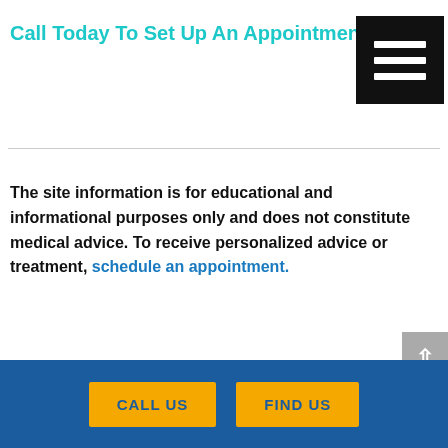Call Today To Set Up An Appointment
[Figure (other): Hamburger menu button — three white horizontal bars on black square background]
The site information is for educational and informational purposes only and does not constitute medical advice. To receive personalized advice or treatment, schedule an appointment.
[Figure (other): Scroll-to-top button with upward caret arrow on gray background]
CALL US   FIND US